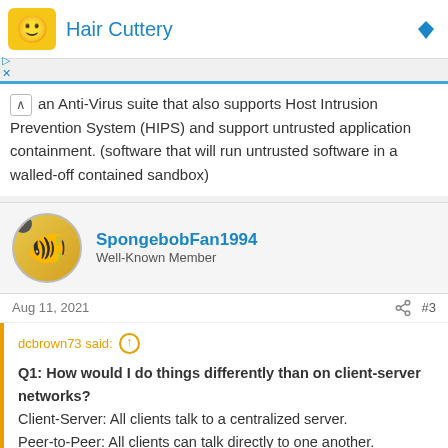[Figure (other): Hair Cuttery advertisement banner with logo and blue diamond icon]
an Anti-Virus suite that also supports Host Intrusion Prevention System (HIPS) and support untrusted application containment. (software that will run untrusted software in a walled-off contained sandbox)
SpongebobFan1994
Well-Known Member
Aug 11, 2021  #3
dcbrown73 said:
Q1: How would I do things differently than on client-server networks?
Client-Server: All clients talk to a centralized server.
Peer-to-Peer: All clients can talk directly to one another.
Q2: What are some basic terms I should be aware of?
Peer-to-Peer vs Client-Server are only different in topology and how they are employed. It dep... ...are going on with this question.
Click to expand